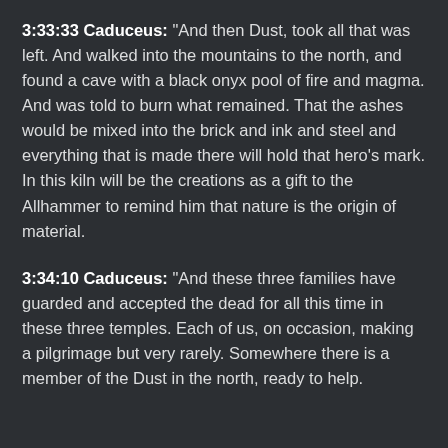3:33:33 Caduceus: “And then Dust, took all that was left. And walked into the mountains to the north, and found a cave with a black onyx pool of fire and magma. And was told to burn what remained. That the ashes would be mixed into the brick and ink and steel and everything that is made there will hold that hero’s mark. In this kiln will be the creations as a gift to the Allhammer to remind him that nature is the origin of material.
3:34:10 Caduceus: “And these three families have guarded and accepted the dead for all this time in these three temples. Each of us, on occasion, making a pilgrimage but very rarely. Somewhere there is a member of the Dust in the north, ready to help.